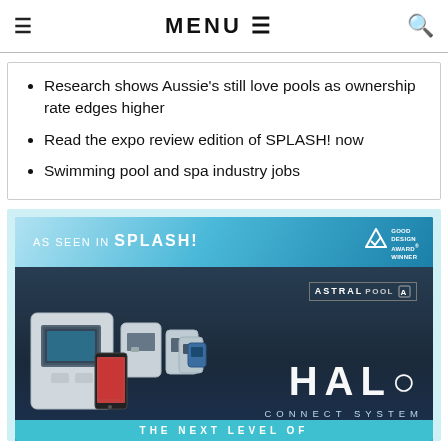MENU
Research shows Aussie's still love pools as ownership rate edges higher
Read the expo review edition of SPLASH! now
Swimming pool and spa industry jobs
[Figure (illustration): AstralPool HALO Connect System advertisement — 'AS SEEN IN SPLASH!' with Good Design Award badge, pool equipment control units shown, ASTRALPOOL logo, HALO CONNECT SYSTEM text, and 'THE NEXT LEVEL OF' at bottom on teal strip.]